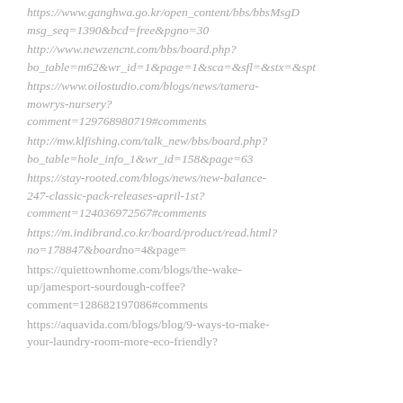https://www.ganghwa.go.kr/open_content/bbs/bbsMsgD msg_seq=1390&bcd=free&pgno=30
http://www.newzencnt.com/bbs/board.php? bo_table=m62&wr_id=1&page=1&sca=&sfl=&stx=&spt
https://www.oilostudio.com/blogs/news/tamera-mowrys-nursery? comment=129768980719#comments
http://mw.klfishing.com/talk_new/bbs/board.php? bo_table=hole_info_1&wr_id=158&page=63
https://stay-rooted.com/blogs/news/new-balance-247-classic-pack-releases-april-1st? comment=124036972567#comments
https://m.indibrand.co.kr/board/product/read.html? no=178847&boardno=4&page=
https://quiettownhome.com/blogs/the-wake-up/jamesport-sourdough-coffee? comment=128682197086#comments
https://aquavida.com/blogs/blog/9-ways-to-make-your-laundry-room-more-eco-friendly?